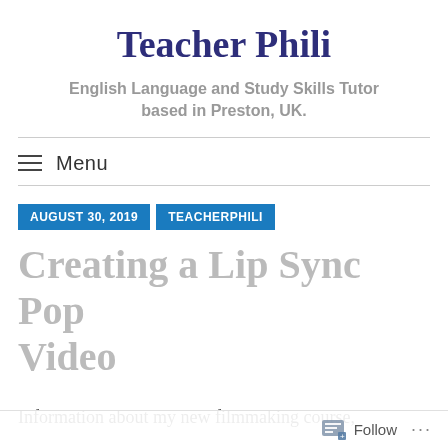Teacher Phili
English Language and Study Skills Tutor based in Preston, UK.
Menu
AUGUST 30, 2019   TEACHERPHILI
Creating a Lip Sync Pop Video
Information about my new filmmaking course,
Follow ...